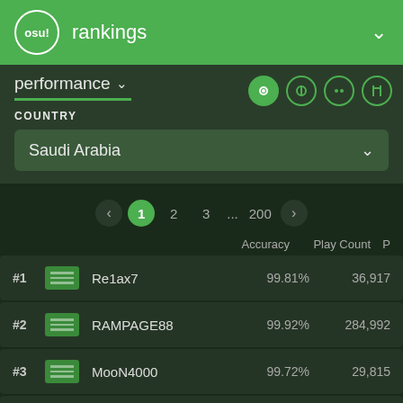osu! rankings
performance
COUNTRY
Saudi Arabia
< 1 2 3 ... 200 >
|  |  | Name | Accuracy | Play Count | P |
| --- | --- | --- | --- | --- | --- |
| #1 |  | Re1ax7 | 99.81% | 36,917 |  |
| #2 |  | RAMPAGE88 | 99.92% | 284,992 |  |
| #3 |  | MooN4000 | 99.72% | 29,815 |  |
| #4 |  | theShadowLLX | 99.12% | 43,687 |  |
| #5 |  | JA Troll my dad | 99.44% | 28,770 |  |